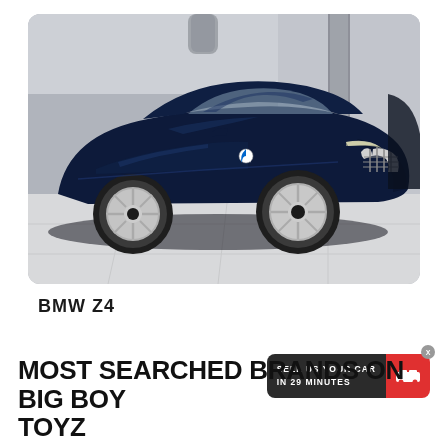[Figure (photo): A dark navy blue BMW Z4 coupe parked inside a modern showroom with grey tiled floors, glass walls and reflective surfaces. The car faces left-rear, showing its distinctive BMW kidney grille, multi-spoke alloy wheels and sleek fastback roofline.]
BMW Z4
SELL US YOUR CAR IN 29 MINUTES
MOST SEARCHED BRANDS ON BIG BOY TOYZ